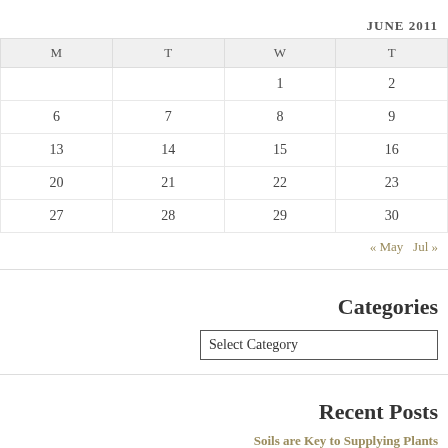JUNE 2011
| M | T | W | T |
| --- | --- | --- | --- |
|  |  | 1 | 2 |
| 6 | 7 | 8 | 9 |
| 13 | 14 | 15 | 16 |
| 20 | 21 | 22 | 23 |
| 27 | 28 | 29 | 30 |
« May   Jul »
Categories
Select Category
Recent Posts
Soils are Key to Supplying Plants
HELP STOP A DANGEROUS IN